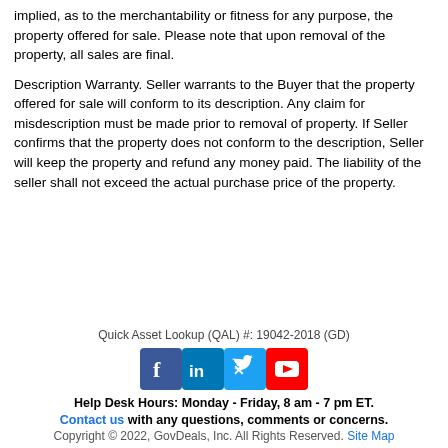implied, as to the merchantability or fitness for any purpose, the property offered for sale. Please note that upon removal of the property, all sales are final.
Description Warranty. Seller warrants to the Buyer that the property offered for sale will conform to its description. Any claim for misdescription must be made prior to removal of property. If Seller confirms that the property does not conform to the description, Seller will keep the property and refund any money paid. The liability of the seller shall not exceed the actual purchase price of the property.
Quick Asset Lookup (QAL) #: 19042-2018 (GD)
[Figure (logo): Social media icons: Facebook (blue), LinkedIn (blue), Twitter (blue), YouTube (red)]
Help Desk Hours: Monday - Friday, 8 am - 7 pm ET.
Contact us with any questions, comments or concerns.
Copyright © 2022, GovDeals, Inc. All Rights Reserved. Site Map